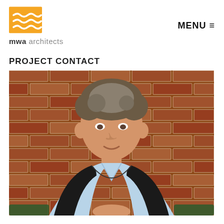mwa architects  MENU ☰
PROJECT CONTACT
[Figure (photo): Professional headshot of a middle-aged man with curly gray-brown hair, wearing a black vest over a light blue plaid shirt, seated in front of a red brick wall, with green chairs visible in the background.]